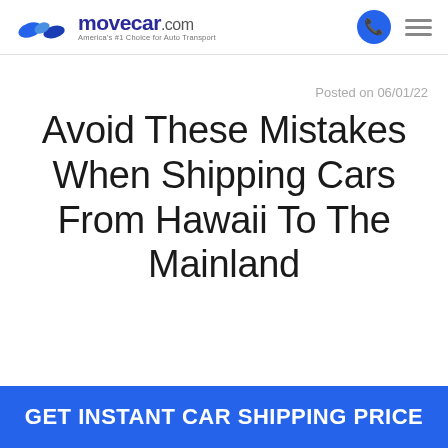movecar.com — America's #1 Choice for Auto Transport
Posted on 06/01/22
Avoid These Mistakes When Shipping Cars From Hawaii To The Mainland
GET INSTANT CAR SHIPPING PRICE